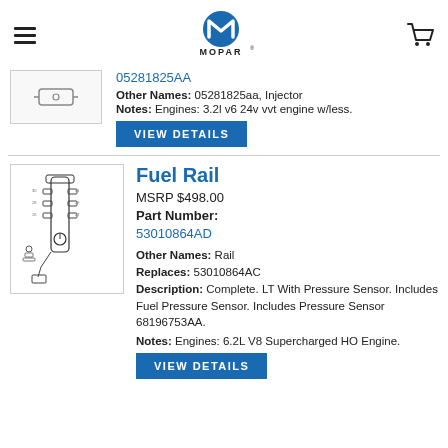Mopar — navigation bar with hamburger menu, Mopar logo, cart icon
05281825AA
Other Names: 05281825aa, Injector
Notes: Engines: 3.2l v6 24v vvt engine w/less.
VIEW DETAILS
Fuel Rail
MSRP $498.00
Part Number:
53010864AD
Other Names: Rail
Replaces: 53010864AC
Description: Complete. LT With Pressure Sensor. Includes Fuel Pressure Sensor. Includes Pressure Sensor 68196753AA.
Notes: Engines: 6.2L V8 Supercharged HO Engine.
VIEW DETAILS